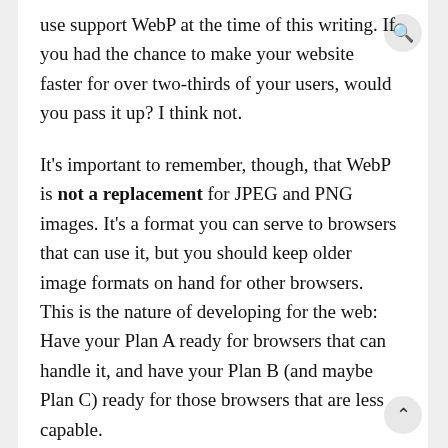use support WebP at the time of this writing. If you had the chance to make your website faster for over two-thirds of your users, would you pass it up? I think not.
It's important to remember, though, that WebP is not a replacement for JPEG and PNG images. It's a format you can serve to browsers that can use it, but you should keep older image formats on hand for other browsers. This is the nature of developing for the web: Have your Plan A ready for browsers that can handle it, and have your Plan B (and maybe Plan C) ready for those browsers that are less capable.
Enough with the disclaimers. Let's optimize!